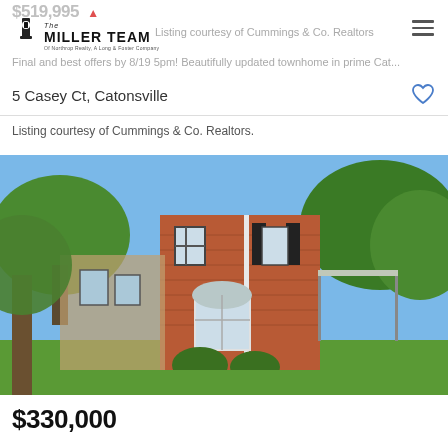$519,995 (strikethrough/faded) | Listing courtesy of Cummings & Co. Realtors
[Figure (logo): The Miller Team logo - Of Northrop Realty, A Long & Foster Company]
Final and best offers by 8/19 5pm! Beautifully updated townhome in prime Cat...
5 Casey Ct, Catonsville
Listing courtesy of Cummings & Co. Realtors.
[Figure (photo): Exterior photo of a two-story brick townhome with white arched bay window, black shutters, attached garage visible, surrounded by mature trees and green lawn, sunny day.]
$330,000